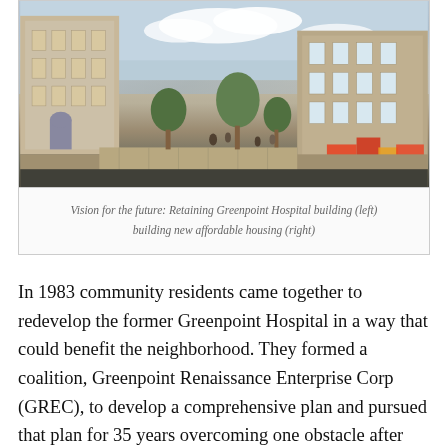[Figure (photo): Architectural rendering of the Greenpoint Hospital redevelopment site showing the historic hospital building on the left with a pedestrian walkway, trees, and people walking, and a new modern affordable housing building on the right with a playground area visible.]
Vision for the future: Retaining Greenpoint Hospital building (left) building new affordable housing (right)
In 1983 community residents came together to redevelop the former Greenpoint Hospital in a way that could benefit the neighborhood. They formed a coalition, Greenpoint Renaissance Enterprise Corp (GREC), to develop a comprehensive plan and pursued that plan for 35 years overcoming one obstacle after another. Last month, the City of New York recognized the community plan and designated St. Nicks Alliance and Hudson Companies as a joint venture team to develop the remaining vacant land and long neglected